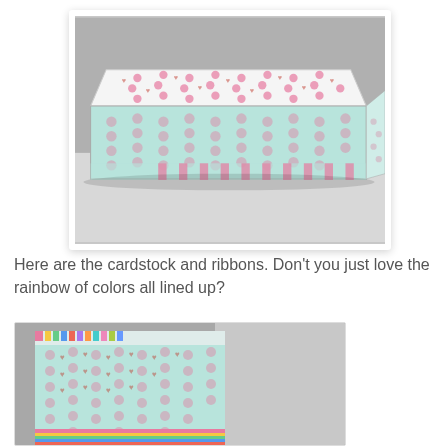[Figure (photo): A decorative gift box with a white lid covered in pink polka dots and small heart designs, sitting on a box base with mint/teal polka dots and pink vertical stripes. Photographed on a light grey surface.]
Here are the cardstock and ribbons. Don't you just love the rainbow of colors all lined up?
[Figure (photo): Close-up side view of the same decorative box showing the mint/teal side with small pink star/heart dot pattern. At the bottom of the photo, colorful ribbons (rainbow of colors) are partially visible.]